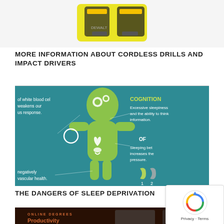[Figure (photo): Partial top image of cordless drills/power tools on white background, cropped at the top]
MORE INFORMATION ABOUT CORDLESS DRILLS AND IMPACT DRIVERS
[Figure (infographic): Infographic about dangers of sleep deprivation showing a green human silhouette with gear icons in the head region and heart/ribbon icons in the chest region, teal background, with text snippets about COGNITION, blood cells, immune response, cardiovascular health, and sleeping benefits]
THE DANGERS OF SLEEP DEPRIVATION
[Figure (photo): Partially visible bottom image, appears dark/cinematic with figures, cropped at page bottom]